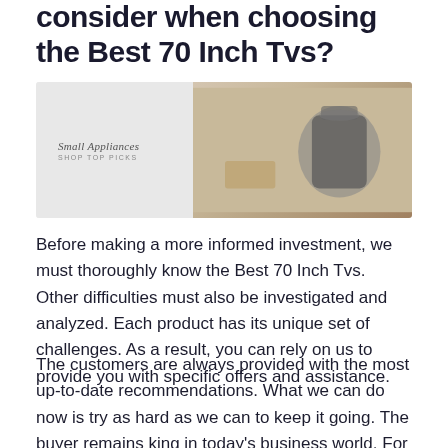consider when choosing the Best 70 Inch Tvs?
[Figure (photo): Banner image showing small kitchen appliances including a pressure cooker/Instant Pot, food items, and beverages. Left side has light gray background with text 'Small Appliances' and 'SHOP TOP PICKS'.]
Before making a more informed investment, we must thoroughly know the Best 70 Inch Tvs. Other difficulties must also be investigated and analyzed. Each product has its unique set of challenges. As a result, you can rely on us to provide you with specific offers and assistance.
The customers are always provided with the most up-to-date recommendations. What we can do now is try as hard as we can to keep it going. The buyer remains king in today's business world. For forming an opinion, consumers should first equip themselves on the subject.